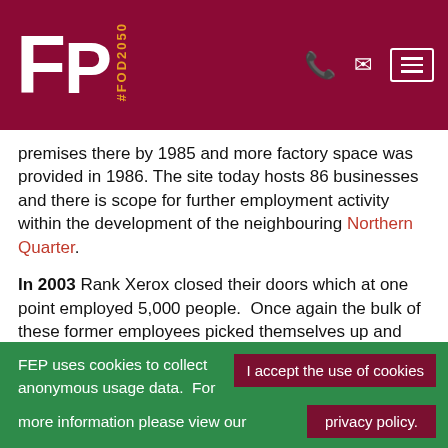FP #FOD2050 — navigation header with logo and menu icons
premises there by 1985 and more factory space was provided in 1986. The site today hosts 86 businesses and there is scope for further employment activity within the development of the neighbouring Northern Quarter.
In 2003 Rank Xerox closed their doors which at one point employed 5,000 people.  Once again the bulk of these former employees picked themselves up and found alternative employment without having to travel too far or leave the area.  The site was sold to a local businessman who…
FEP uses cookies to collect anonymous usage data.  For more information please view our  I accept the use of cookies  privacy policy.